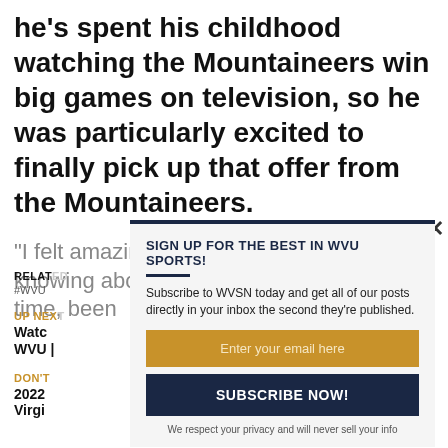he's spent his childhood watching the Mountaineers win big games on television, so he was particularly excited to finally pick up that offer from the Mountaineers.
“I felt amazing,” Ford said. “I’ve been knowing about that school for a very long time, been
RELATED
#WVU
UP NEXT
Watc
WVU |
DON'T
2022
Virgi
[Figure (screenshot): Email subscription modal popup for WVSN WVU Sports newsletter with close button, email input field, subscribe button, and privacy note.]
SIGN UP FOR THE BEST IN WVU SPORTS!
Subscribe to WVSN today and get all of our posts directly in your inbox the second they're published.
Enter your email here
SUBSCRIBE NOW!
We respect your privacy and will never sell your info